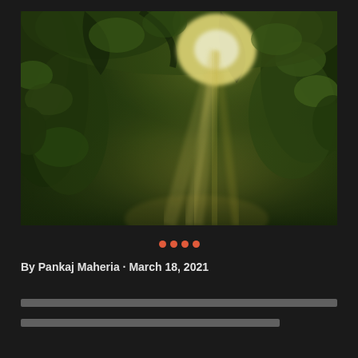[Figure (photo): Forest path with sunlight rays filtering through dense green foliage and trees, creating a misty atmospheric scene]
•••• (decorative dots in orange/red)
By Pankaj Maheria · March 18, 2021
[Non-Latin body text - two lines of content in a non-Latin script]